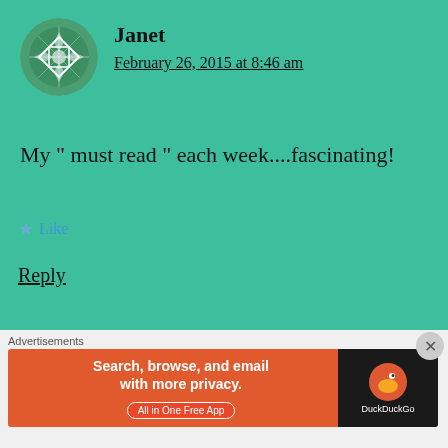[Figure (illustration): Green circular avatar with geometric floral/diamond pattern in darker green and white for user Janet]
Janet
February 26, 2015 at 8:46 am
My " must read " each week....fascinating!
Like
Reply
[Figure (illustration): Green circular avatar with geometric pattern for user Janet (second comment)]
Janet
Advertisements
[Figure (screenshot): DuckDuckGo advertisement banner: Search, browse, and email with more privacy. All in One Free App]